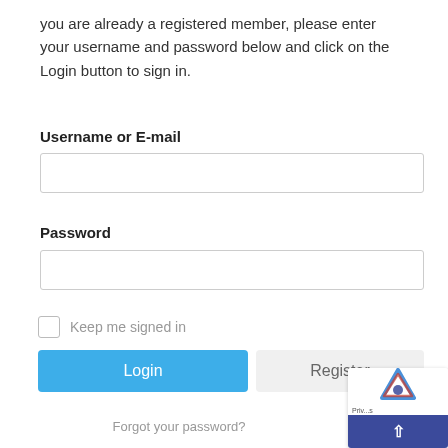you are already a registered member, please enter your username and password below and click on the Login button to sign in.
Username or E-mail
[Figure (other): Empty text input field for username or e-mail]
Password
[Figure (other): Empty text input field for password]
Keep me signed in
[Figure (other): Login button (blue) and Register button (grey)]
Forgot your password?
[Figure (other): reCAPTCHA widget overlay in bottom-right corner]